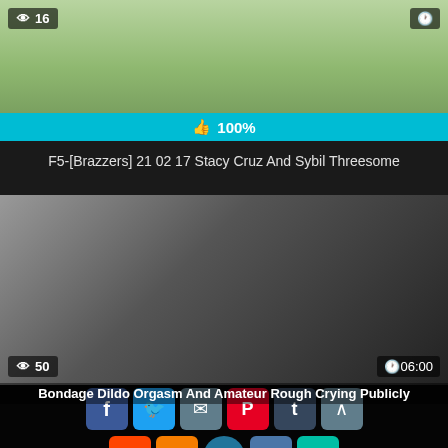[Figure (screenshot): Video thumbnail showing bedroom scene with yellow blanket, view count 16, 100% like bar, watermark BRAZZERS]
16
100%
F5-[Brazzers] 21 02 17 Stacy Cruz And Sybil Threesome
[Figure (photo): Video thumbnail showing woman with dark hair and makeup, view count 50, duration 06:00]
50
06:00
[Figure (screenshot): Social share buttons: Facebook, Twitter, Email, Pinterest, Tumblr, up arrow, Reddit, Blogger, WordPress, VK, More]
Bondage Dildo Orgasm And Amateur Rough Crying Publicly